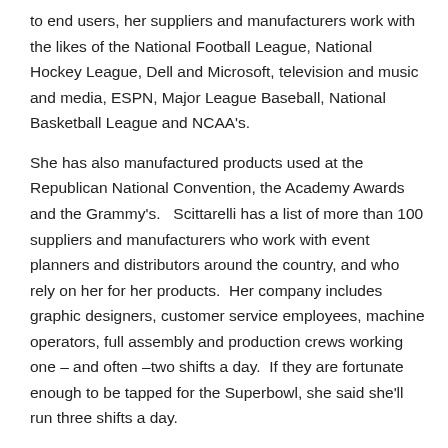to end users, her suppliers and manufacturers work with the likes of the National Football League, National Hockey League, Dell and Microsoft, television and music and media, ESPN, Major League Baseball, National Basketball League and NCAA's.
She has also manufactured products used at the Republican National Convention, the Academy Awards and the Grammy's.   Scittarelli has a list of more than 100 suppliers and manufacturers who work with event planners and distributors around the country, and who rely on her for her products.  Her company includes graphic designers, customer service employees, machine operators, full assembly and production crews working one – and often –two shifts a day.  If they are fortunate enough to be tapped for the Superbowl, she said she'll run three shifts a day.
A Perfect Print is quickly gaining a reputation of excellence, and is outgrowing its current staffing size:  Scittarelli has 30 full-time workers, 10 independent sales people in the United States and another four in Canada; she is currently accepting applications for an additional 10